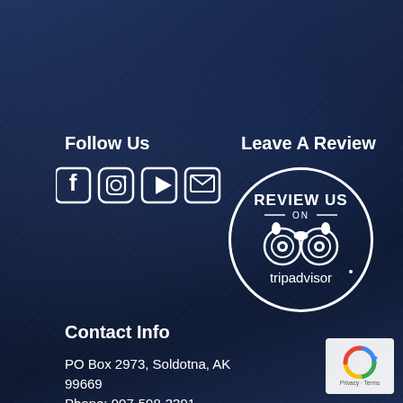Follow Us
[Figure (illustration): Social media icons: Facebook, Instagram, YouTube, Email]
Leave A Review
[Figure (logo): TripAdvisor Review Us circle badge with owl logo and text 'REVIEW US ON tripadvisor']
Contact Info
PO Box 2973, Soldotna, AK 99669
Phone: 907-598-3391
Email:
bigdansfishing@gmail.com
[Figure (logo): Google reCAPTCHA badge with Privacy and Terms text]